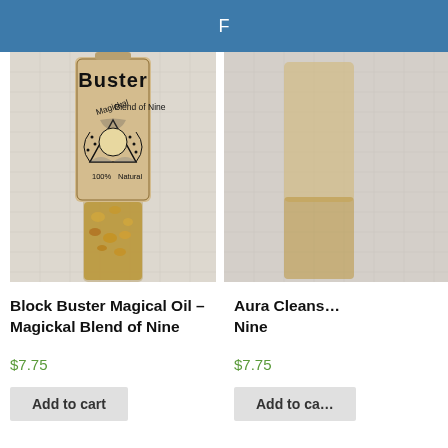F
[Figure (photo): Photo of a glass bottle labeled 'Buster Magickal Blend of Nine, 100% Natural' containing dried herbs/resin, with a kraft paper label featuring mystical artwork.]
Block Buster Magical Oil – Magickal Blend of Nine
$7.75
Add to cart
[Figure (photo): Partial photo of another product (Aura Cleansing oil) – only left edge visible, similar bottle style.]
Aura Cleans... Nine
$7.75
Add to ca...